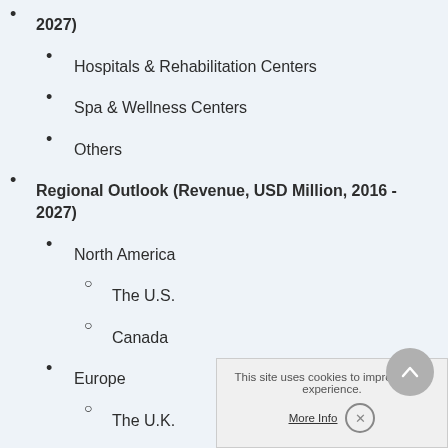2027)
Hospitals & Rehabilitation Centers
Spa & Wellness Centers
Others
Regional Outlook (Revenue, USD Million, 2016 - 2027)
North America
The U.S.
Canada
Europe
The U.K.
Germany
France
Italy